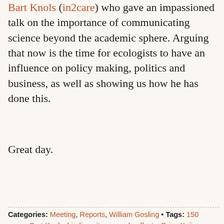Bart Knols (in2care) who gave an impassioned talk on the importance of communicating science beyond the academic sphere. Arguing that now is the time for ecologists to have an influence on policy making, politics and business, as well as showing us how he has done this.
Great day.
Continue Reading
Categories: Meeting, Reports, William Gosling • Tags: 150 years, Bart Knols, biodiversity, cascade effects, Dries Kuijper, ecology, ecosystem, Europe, fear, forest, Haeckel, immunology, Irene Tieleman,